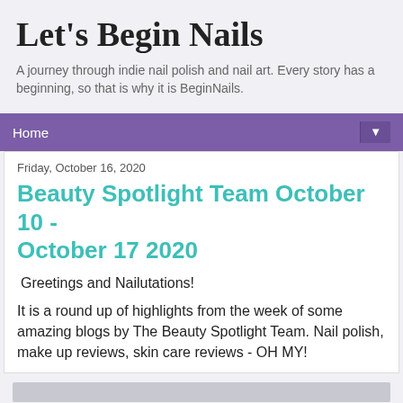Let's Begin Nails
A journey through indie nail polish and nail art. Every story has a beginning, so that is why it is BeginNails.
Home ▼
Friday, October 16, 2020
Beauty Spotlight Team October 10 - October 17 2020
Greetings and Nailutations!
It is a round up of highlights from the week of some amazing blogs by The Beauty Spotlight Team.  Nail polish, make up reviews, skin care reviews - OH MY!